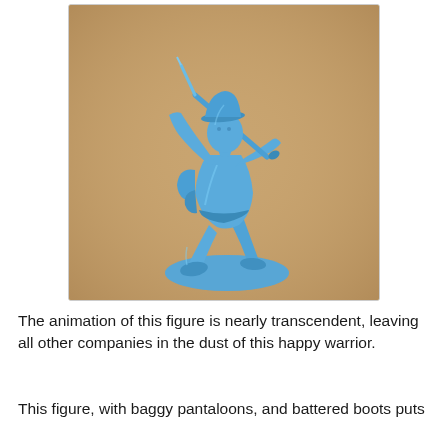[Figure (photo): A blue plastic toy soldier figurine in a dynamic charging/attacking pose, holding a rifle with bayonet raised overhead. The figure wears baggy pantaloons and a hat, standing on an oval base. Photographed against a warm tan/ochre background.]
The animation of this figure is nearly transcendent, leaving all other companies in the dust of this happy warrior.
This figure, with baggy pantaloons, and battered boots puts